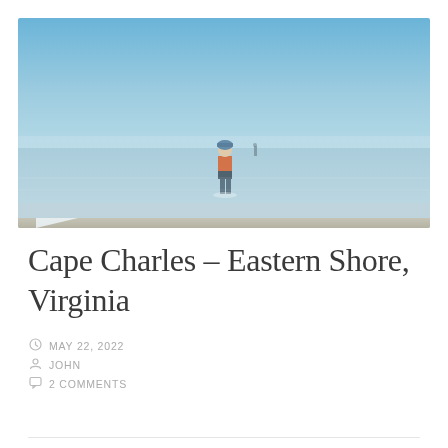[Figure (photo): A young child in an orange shirt and blue hat standing in shallow calm water on a beach, with a vast expanse of flat water and blue hazy sky in the background. A small figure is visible in the far distance.]
Cape Charles – Eastern Shore, Virginia
MAY 22, 2022
JOHN
2 COMMENTS